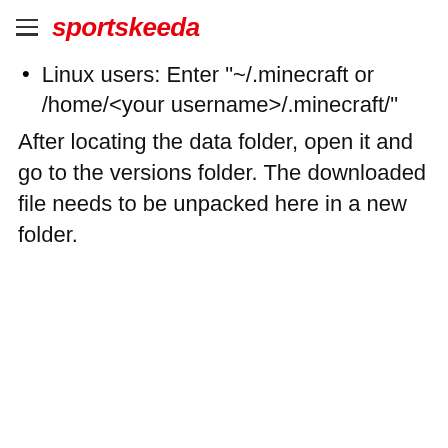sportskeeda
Linux users: Enter "~/.minecraft or /home/<your username>/.minecraft/"
After locating the data folder, open it and go to the versions folder. The downloaded file needs to be unpacked here in a new folder.